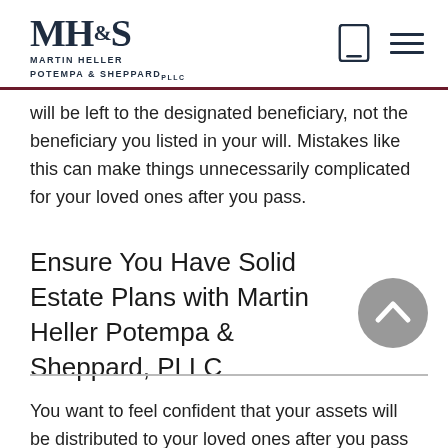Martin Heller Potempa & Sheppard PLLC
will be left to the designated beneficiary, not the beneficiary you listed in your will. Mistakes like this can make things unnecessarily complicated for your loved ones after you pass.
Ensure You Have Solid Estate Plans with Martin Heller Potempa & Sheppard, PLLC
You want to feel confident that your assets will be distributed to your loved ones after you pass the way